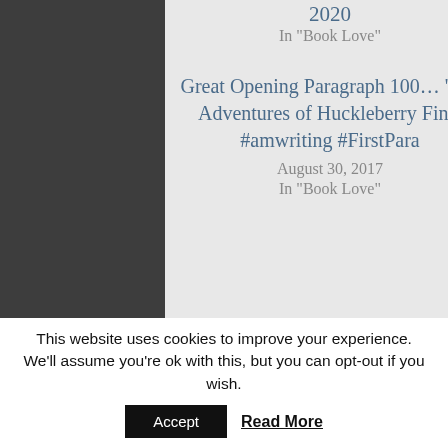2020
In "Book Love"
January 7, 2015
In "Book Love"
Great Opening Paragraph 100… 'The Adventures of Huckleberry Finn' #amwriting #FirstPara
August 30, 2017
In "Book Love"
This website uses cookies to improve your experience. We'll assume you're ok with this, but you can opt-out if you wish.
Accept
Read More